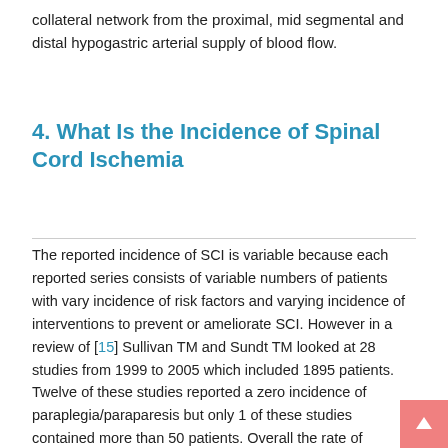collateral network from the proximal, mid segmental and distal hypogastric arterial supply of blood flow.
4. What Is the Incidence of Spinal Cord Ischemia
The reported incidence of SCI is variable because each reported series consists of variable numbers of patients with vary incidence of risk factors and varying incidence of interventions to prevent or ameliorate SCI. However in a review of [15] Sullivan TM and Sundt TM looked at 28 studies from 1999 to 2005 which included 1895 patients. Twelve of these studies reported a zero incidence of paraplegia/paraparesis but only 1 of these studies contained more than 50 patients. Overall the rate of paraplegia/paraparesis was 2.7% and varied from 12.5% to zero. Since then Etz CD, Halstead CD, Spielvogel D et al., [16] reported 2% paraplegia rate for 100 consecutive patients in interventions with A...